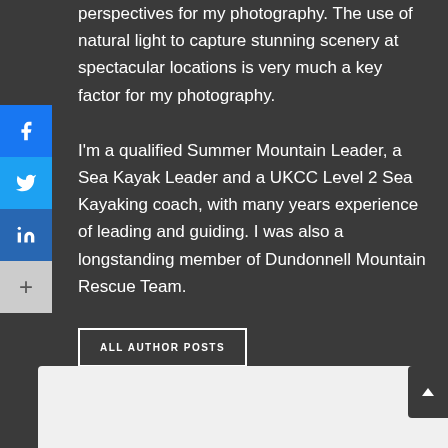perspectives for my photography. The use of natural light to capture stunning scenery at spectacular locations is very much a key factor for my photography.
I'm a qualified Summer Mountain Leader, a Sea Kayak Leader and a UKCC Level 2 Sea Kayaking coach, with many years experience of leading and guiding. I was also a longstanding member of Dundonnell Mountain Rescue Team.
ALL AUTHOR POSTS
[Figure (other): Social media sidebar with Facebook, Twitter, LinkedIn, and more (+) buttons]